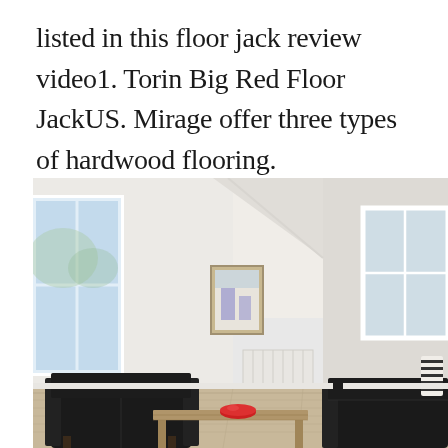listed in this floor jack review video1. Torin Big Red Floor JackUS. Mirage offer three types of hardwood flooring.
[Figure (photo): Interior living room with white walls and vaulted ceiling, large windows on left and right, a framed picture on the wall, white radiator, two black leather armchairs, a wooden coffee table with a red bowl, and a striped vase on the right side.]